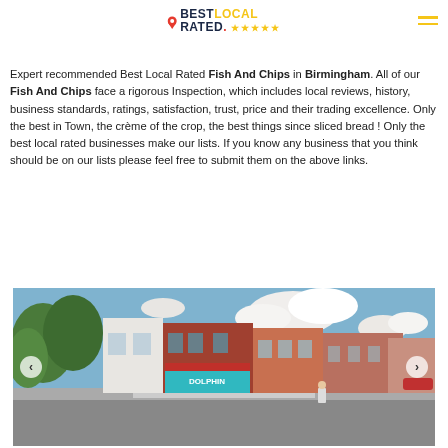[Figure (logo): Best Local Rated logo with map pin icon, yellow stars, and text in dark navy and yellow]
Expert recommended Best Local Rated Fish And Chips in Birmingham. All of our Fish And Chips face a rigorous Inspection, which includes local reviews, history, business standards, ratings, satisfaction, trust, price and their trading excellence. Only the best in Town, the crème of the crop, the best things since sliced bread ! Only the best local rated businesses make our lists. If you know any business that you think should be on our lists please feel free to submit them on the above links.
[Figure (photo): Street view photo of a row of shops including a fish and chip shop called Dolphin, with red awning, on a UK high street. Trees visible on left, blue sky with clouds above.]